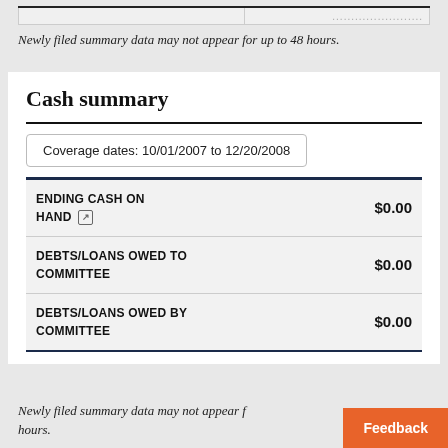Newly filed summary data may not appear for up to 48 hours.
Cash summary
Coverage dates: 10/01/2007 to 12/20/2008
|  |  |
| --- | --- |
| ENDING CASH ON HAND | $0.00 |
| DEBTS/LOANS OWED TO COMMITTEE | $0.00 |
| DEBTS/LOANS OWED BY COMMITTEE | $0.00 |
Newly filed summary data may not appear for up to 48 hours.